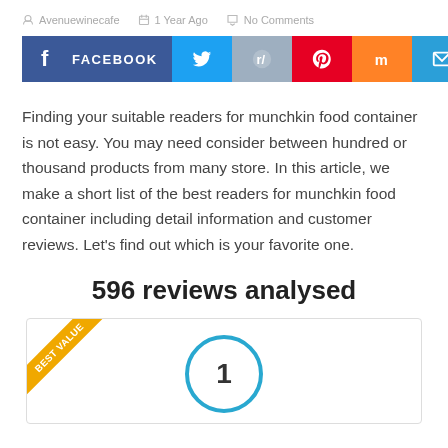Avenuewinecafe   1 Year Ago   No Comments
[Figure (infographic): Social sharing buttons row: Facebook, Twitter, Reddit, Pinterest, Mix, Email]
Finding your suitable readers for munchkin food container is not easy. You may need consider between hundred or thousand products from many store. In this article, we make a short list of the best readers for munchkin food container including detail information and customer reviews. Let's find out which is your favorite one.
596 reviews analysed
[Figure (infographic): Best Value badge ribbon in top-left corner of a card, with a number circle showing '1' in blue outline]